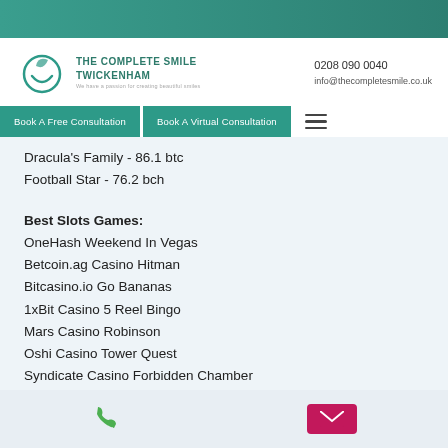The Complete Smile Twickenham | 0208 090 0040 | info@thecompletesmile.co.uk
Dracula's Family - 86.1 btc
Football Star - 76.2 bch
Best Slots Games:
OneHash Weekend In Vegas
Betcoin.ag Casino Hitman
Bitcasino.io Go Bananas
1xBit Casino 5 Reel Bingo
Mars Casino Robinson
Oshi Casino Tower Quest
Syndicate Casino Forbidden Chamber